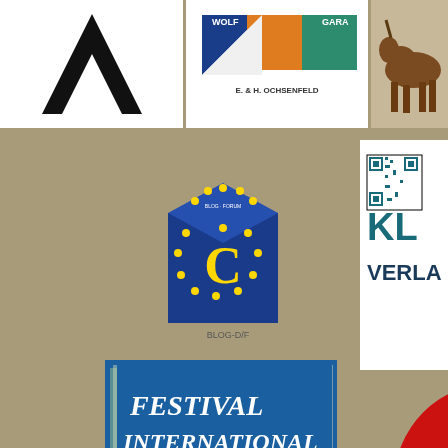[Figure (logo): Black lambda/A shape logo on white background]
[Figure (logo): E. & H. Ochsenfeld logo with colored geometric shapes (blue, orange, white, green) and text 'WOLF' and 'GARAR']
[Figure (photo): Photo of a brown horse trotting, partially cropped]
[Figure (logo): European Union style blue cube with yellow stars and yellow letter C, with text 'BLOG-D/F' below]
[Figure (logo): QR code and 'KLA VERLAG' text in teal/dark cyan color on white background]
[Figure (logo): Festival International de la Poesie logo on blue background with globe graphic]
[Figure (illustration): Red circular sticker peeling at top with text 'PROUD SUPPORTER OF NTM' and bird/chevron logo]
[Figure (logo): levurE logo in gray and green text on dark background]
[Figure (logo): Literaturwerkstatt and Theaterwerkstatt logo with circular black arrows, website www.funcay-gary.de and info@funcay-gary.de]
[Figure (photo): Red and dark dramatic photo partially visible with text 'CHA']